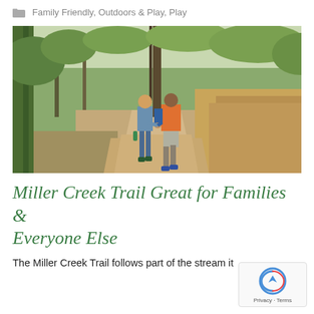Family Friendly, Outdoors & Play, Play
[Figure (photo): A couple walking hand-in-hand on a dirt trail through a wooded area. The woman is wearing a denim jacket and blue jeans and carrying a green water bottle. The man is wearing an orange vest and grey shorts. Trees and dry brush surround the trail.]
Miller Creek Trail Great for Families & Everyone Else
The Miller Creek Trail follows part of the stream it